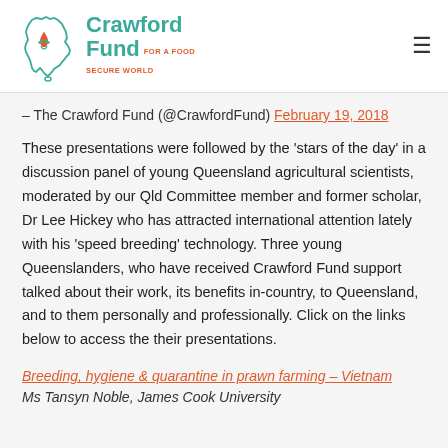[Figure (logo): Crawford Fund logo — Australian map outline with leaf/flame icon and text 'Crawford Fund For A Food Secure World']
– The Crawford Fund (@CrawfordFund) February 19, 2018
These presentations were followed by the 'stars of the day' in a discussion panel of young Queensland agricultural scientists, moderated by our Qld Committee member and former scholar, Dr Lee Hickey who has attracted international attention lately with his 'speed breeding' technology. Three young Queenslanders, who have received Crawford Fund support talked about their work, its benefits in-country, to Queensland, and to them personally and professionally. Click on the links below to access the their presentations.
Breeding, hygiene & quarantine in prawn farming – Vietnam
Ms Tansyn Noble, James Cook University